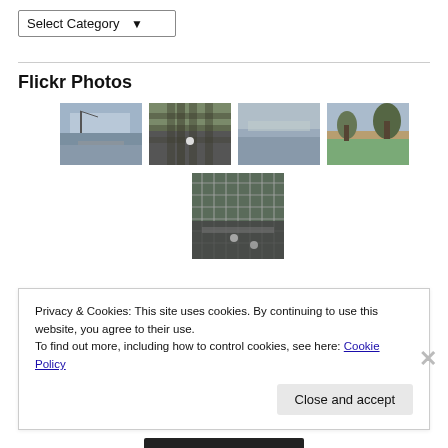Select Category
Flickr Photos
[Figure (photo): Grid of 5 outdoor photos showing waterfront walkway, road through fence, open water/lake, park with trees, and highway from above through fence]
Privacy & Cookies: This site uses cookies. By continuing to use this website, you agree to their use.
To find out more, including how to control cookies, see here: Cookie Policy
Close and accept